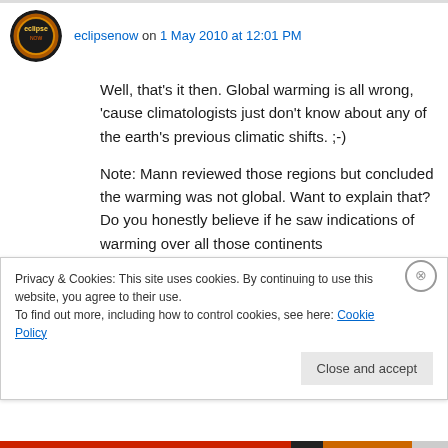eclipsenow on 1 May 2010 at 12:01 PM
Well, that’s it then. Global warming is all wrong, ‘cause climatologists just don't know about any of the earth’s previous climatic shifts. ;-)
Note: Mann reviewed those regions but concluded the warming was not global. Want to explain that? Do you honestly believe if he saw indications of warming over all those continents that he’d still call it regional?
Privacy & Cookies: This site uses cookies. By continuing to use this website, you agree to their use.
To find out more, including how to control cookies, see here: Cookie Policy